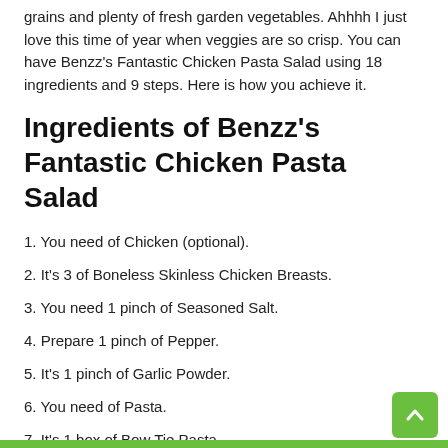grains and plenty of fresh garden vegetables. Ahhhh I just love this time of year when veggies are so crisp. You can have Benzz's Fantastic Chicken Pasta Salad using 18 ingredients and 9 steps. Here is how you achieve it.
Ingredients of Benzz's Fantastic Chicken Pasta Salad
1. You need of Chicken (optional).
2. It's 3 of Boneless Skinless Chicken Breasts.
3. You need 1 pinch of Seasoned Salt.
4. Prepare 1 pinch of Pepper.
5. It's 1 pinch of Garlic Powder.
6. You need of Pasta.
7. It's 1 box of Bow Tie Pasta.
8. It's 1 box of Mostaccioli Pasta.
9. It's 1/4 cup of Onion.
10. It's 1/4 cup of Sweet Bell Peppers.
11. You need 3 stick of Celery.